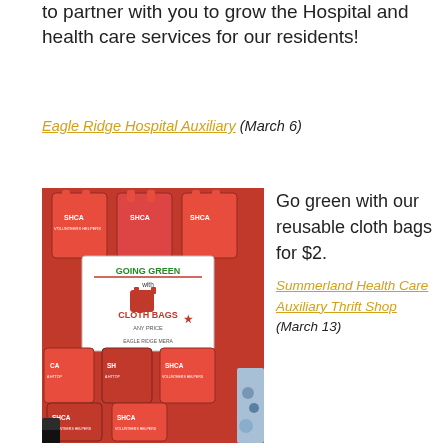to partner with you to grow the Hospital and health care services for our residents!
Eagle Ridge Hospital Auxiliary (March 6)
[Figure (photo): A display rack holding numerous red cloth bags branded with 'SHCA' and 'CA' logos, with a sign reading 'GOING GREEN with CLOTH BAGS - EAGLE RIDGE MERA' in green and red text on a white background.]
Go green with our reusable cloth bags for $2.
Summerland Health Care Auxiliary Thrift Shop (March 13)